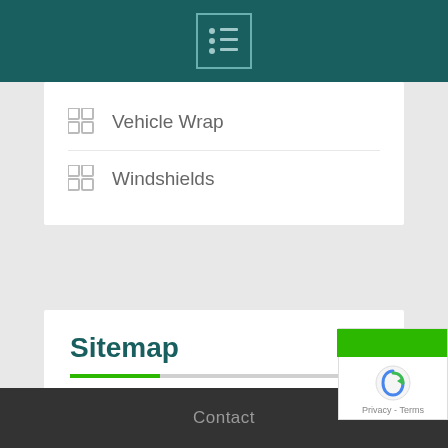Navigation menu icon
Vehicle Wrap
Windshields
Sitemap
→ Various
→ Contact
Contact